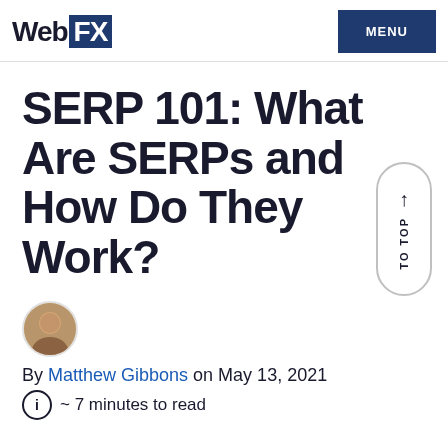WebFX | MENU
SERP 101: What Are SERPs and How Do They Work?
[Figure (photo): Author avatar photo of Matthew Gibbons, a circular profile picture]
By Matthew Gibbons on May 13, 2021
~ 7 minutes to read